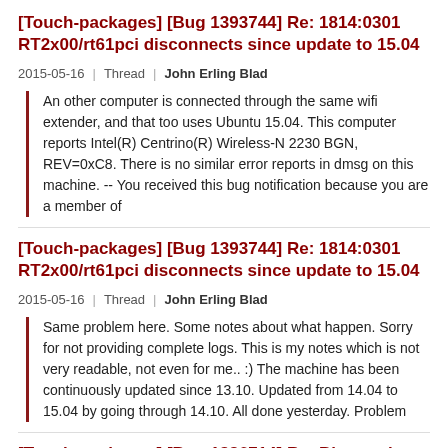[Touch-packages] [Bug 1393744] Re: 1814:0301 RT2x00/rt61pci disconnects since update to 15.04
2015-05-16 | Thread | John Erling Blad
An other computer is connected through the same wifi extender, and that too uses Ubuntu 15.04. This computer reports Intel(R) Centrino(R) Wireless-N 2230 BGN, REV=0xC8. There is no similar error reports in dmsg on this machine. -- You received this bug notification because you are a member of
[Touch-packages] [Bug 1393744] Re: 1814:0301 RT2x00/rt61pci disconnects since update to 15.04
2015-05-16 | Thread | John Erling Blad
Same problem here. Some notes about what happen. Sorry for not providing complete logs. This is my notes which is not very readable, not even for me.. :) The machine has been continuously updated since 13.10. Updated from 14.04 to 15.04 by going through 14.10. All done yesterday. Problem
[Touch-packages] [Bug 1886714] Re: Bluetooth disconnects, and then sound fails on reconnect